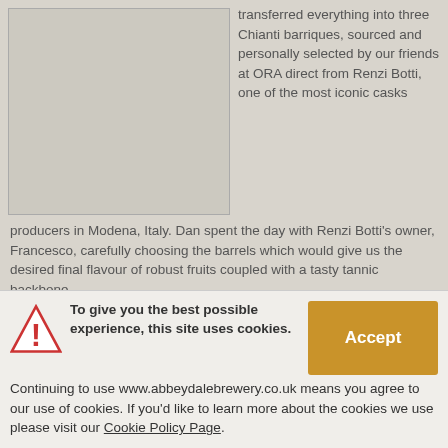[Figure (photo): A rectangular image placeholder with a light grayish-beige textured background, framed with a thin border.]
transferred everything into three Chianti barriques, sourced and personally selected by our friends at ORA direct from Renzi Botti, one of the most iconic casks producers in Modena, Italy. Dan spent the day with Renzi Botti's owner, Francesco, carefully choosing the barrels which would give us the desired final flavour of robust fruits coupled with a tasty tannic backbone.
We have aged the beer in these exceptional barrels for around 9
To give you the best possible experience, this site uses cookies. Continuing to use www.abbeydalebrewery.co.uk means you agree to our use of cookies. If you'd like to learn more about the cookies we use please visit our Cookie Policy Page.